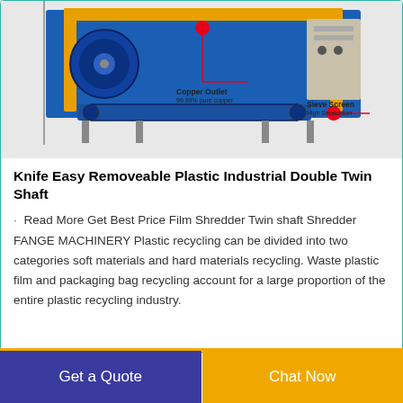[Figure (photo): Industrial plastic shredder machine in blue and yellow color with red indicator arrows pointing to Copper Outlet (99.99% pure copper) and Sieve Screen High Separation components]
Knife Easy Removeable Plastic Industrial Double Twin Shaft
· Read More Get Best Price Film Shredder Twin shaft Shredder FANGE MACHINERY Plastic recycling can be divided into two categories soft materials and hard materials recycling. Waste plastic film and packaging bag recycling account for a large proportion of the entire plastic recycling industry.